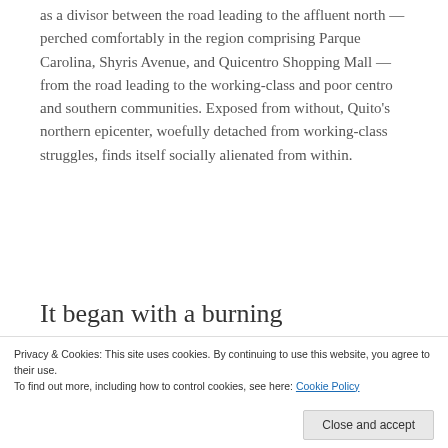as a divisor between the road leading to the affluent north — perched comfortably in the region comprising Parque Carolina, Shyris Avenue, and Quicentro Shopping Mall — from the road leading to the working-class and poor centro and southern communities. Exposed from without, Quito's northern epicenter, woefully detached from working-class struggles, finds itself socially alienated from within.
It began with a burning
Privacy & Cookies: This site uses cookies. By continuing to use this website, you agree to their use.
To find out more, including how to control cookies, see here: Cookie Policy
side with eight other people in the back of an old